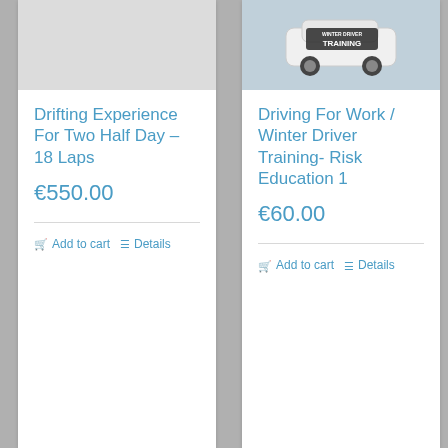[Figure (photo): Gray placeholder image for drifting experience product]
Drifting Experience For Two Half Day – 18 Laps
€550.00
Add to cart
Details
[Figure (photo): Photo of a car with 'Winter Driver Training' text on a snowy road]
Driving For Work / Winter Driver Training- Risk Education 1
€60.00
Add to cart
Details